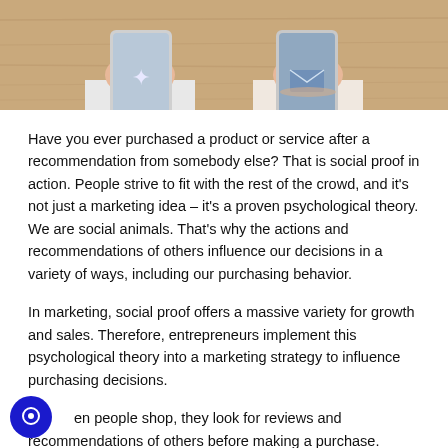[Figure (photo): Two people sitting across a wooden table, each holding a smartphone, viewed from above. One phone shows a star/sparkle icon and the other shows an envelope/message icon.]
Have you ever purchased a product or service after a recommendation from somebody else? That is social proof in action. People strive to fit with the rest of the crowd, and it's not just a marketing idea – it's a proven psychological theory. We are social animals. That's why the actions and recommendations of others influence our decisions in a variety of ways, including our purchasing behavior.
In marketing, social proof offers a massive variety for growth and sales. Therefore, entrepreneurs implement this psychological theory into a marketing strategy to influence purchasing decisions.
When people shop, they look for reviews and recommendations of others before making a purchase.